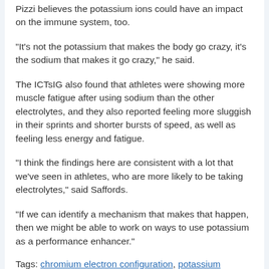Pizzi believes the potassium ions could have an impact on the immune system, too.
“It's not the potassium that makes the body go crazy, it's the sodium that makes it go crazy,” he said.
The ICTsIG also found that athletes were showing more muscle fatigue after using sodium than the other electrolytes, and they also reported feeling more sluggish in their sprints and shorter bursts of speed, as well as feeling less energy and fatigue.
“I think the findings here are consistent with a lot that we've seen in athletes, who are more likely to be taking electrolytes,” said Saffords.
“If we can identify a mechanism that makes that happen, then we might be able to work on ways to use potassium as a performance enhancer.”
Tags: chromium electron configuration, potassium